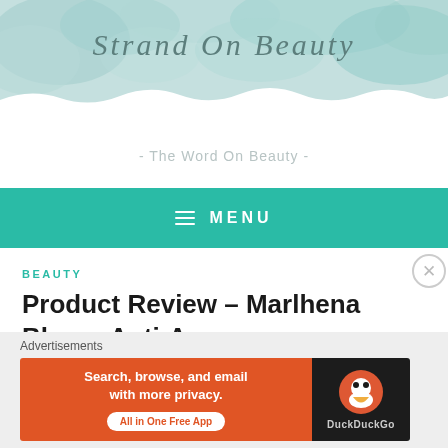[Figure (illustration): Watercolor teal/mint cloud-like decorative header banner background for 'Strand On Beauty' blog]
Strand On Beauty
- The Word On Beauty -
MENU
BEAUTY
Product Review – Marlhena Bloom Anti-Age
April 28, 2014   Strand On Beauty
[Figure (screenshot): DuckDuckGo advertisement banner: orange section with text 'Search, browse, and email with more privacy. All in One Free App' and dark section with DuckDuckGo logo and name]